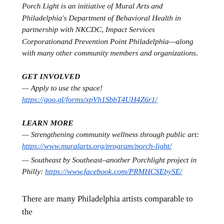Porch Light is an initiative of Mural Arts and Philadelphia's Department of Behavioral Health in partnership with NKCDC, Impact Services Corporationand Prevention Point Philadelphia—along with many other community members and organizations.
GET INVOLVED
— Apply to use the space! https://goo.gl/forms/xpVh1SbbT4UH4Z6r1/
LEARN MORE
— Strengthening community wellness through public art: https://www.muralarts.org/program/porch-light/
— Southeast by Southeast–another Porchlight project in Philly: https://www.facebook.com/PRMHCSEbySE/
There are many Philadelphia artists comparable to the